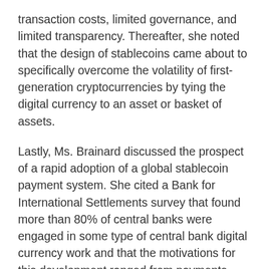transaction costs, limited governance, and limited transparency. Thereafter, she noted that the design of stablecoins came about to specifically overcome the volatility of first-generation cryptocurrencies by tying the digital currency to an asset or basket of assets.
Lastly, Ms. Brainard discussed the prospect of a rapid adoption of a global stablecoin payment system. She cited a Bank for International Settlements survey that found more than 80% of central banks were engaged in some type of central bank digital currency work and that the motivations for this development ranged from payments safety to robustness to efficiency. Ms. Brainard concluded by noting the dollar's important role in the world and the criticality of remaining on the frontier of research and policy.